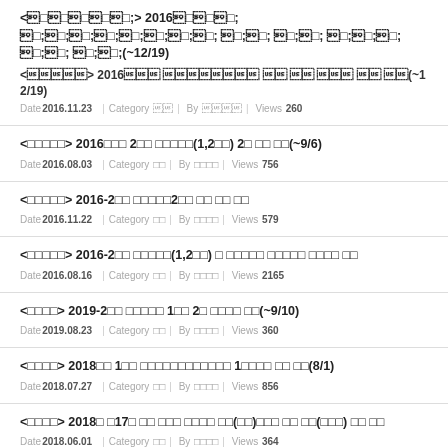<□□□□□> 2016□□□ □□□□□□□□ □□ □□ □□□ □□ □□(~12/19) Date 2016.11.23 | Category □□ | By □□□□ | Views 260
<□□□□□> 2016□□□ 2□□ □□□□□(1,2□□) 2□ □□ □□(~9/6) Date 2016.08.03 | Category □□ | By □□□□ | Views 756
<□□□□□> 2016-2□□ □□□□□2□□ □□ □□ □□ Date 2016.11.22 | Category □□ | By □□□□ | Views 579
<□□□□□> 2016-2□□ □□□□□(1,2□□) □ □□□□□ □□□□□ □□□□ □□ Date 2016.08.16 | Category □□ | By □□□□ | Views 2165
<□□□□> 2019-2□□ □□□□□ 1□□ 2□ □□□□ □□(~9/10) Date 2019.08.23 | Category □□ | By □□□□ | Views 360
<□□□□> 2018□□ 1□□ □□□□□□□□□□□□ 1□□□□ □□ □□(8/1) Date 2018.07.27 | Category □□ | By □□□□ | Views 856
<□□□□> 2018□ □17□ □□ □□□ □□□□ □□(□□)□□□ □□ □□(□□□) □□ □□ Date 2018.06.01 | Category □□ | By □□□□ | Views 364